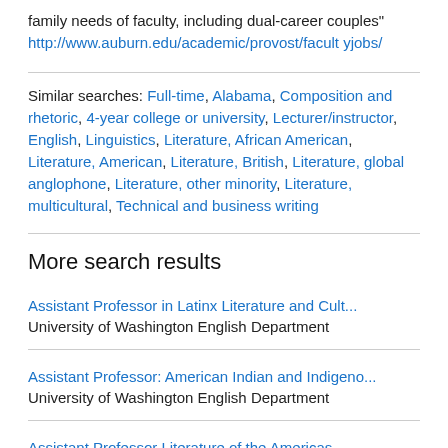family needs of faculty, including dual-career couples" http://www.auburn.edu/academic/provost/facultyjobs/
Similar searches: Full-time, Alabama, Composition and rhetoric, 4-year college or university, Lecturer/instructor, English, Linguistics, Literature, African American, Literature, American, Literature, British, Literature, global anglophone, Literature, other minority, Literature, multicultural, Technical and business writing
More search results
Assistant Professor in Latinx Literature and Cult...
University of Washington English Department
Assistant Professor: American Indian and Indigeno...
University of Washington English Department
Assistant Professor Literature of the Americas